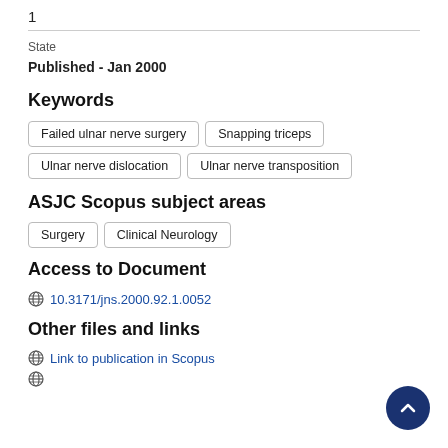1
State
Published - Jan 2000
Keywords
Failed ulnar nerve surgery
Snapping triceps
Ulnar nerve dislocation
Ulnar nerve transposition
ASJC Scopus subject areas
Surgery
Clinical Neurology
Access to Document
10.3171/jns.2000.92.1.0052
Other files and links
Link to publication in Scopus